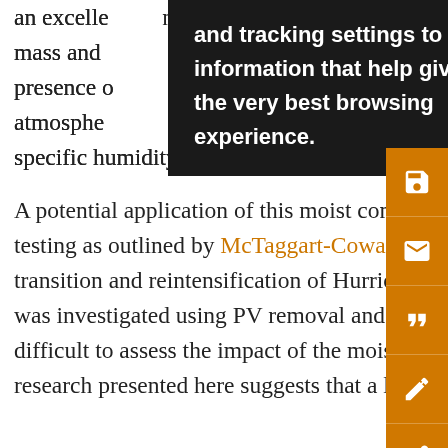an excelle...ng mass and...e presence of...the atmosphe...al specific humidity field through (40).
[Figure (screenshot): Browser tooltip/overlay popup with dark background reading: 'and tracking settings to store information that help give you the very best browsing experience.']
A potential application of this moist component methodology is to the problem of sensitivity testing as outlined by McTaggart-Cowan et al. (2001). The sensitivity of the extratropical transition and reintensification of Hurricane Earl (1998) to PV anomalies in the initial conditions was investigated using PV removal and inversion. However, as noted in that paper, it is very difficult to assess the impact of the moisture field on the rapid redevelopment of the storm. The research presented here suggests that a link between